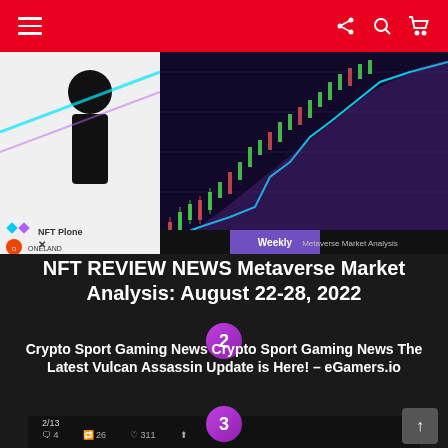Navigation bar with menu, share, search, and cart icons
[Figure (screenshot): NFT Review metaverse market analysis thumbnail with candlestick chart background, black silhouette figure, NFT Plone logo, Weekly badge, and Metaverse Market Analysis text]
NFT REVIEW NEWS Metaverse Market Analysis: August 22-28, 2022
[Figure (other): Circle badge with number 2]
Crypto Sport Gaming News Crypto Sport Gaming News The Latest Vulcan Assassin Update is Here! – eGamers.io
[Figure (screenshot): Twitter screenshot showing Input Output @InputOutputHK tweet with stats: 4 replies, 26 retweets, 311 likes. Tweet content: Ogmios: released, GraphQL: released]
[Figure (other): Circle badge with number 3]